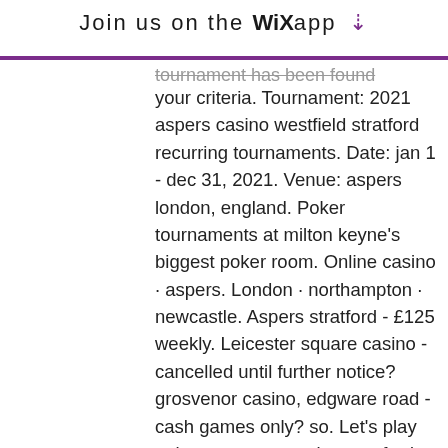Join us on the WiX app ↓
tournament has been found according to your criteria. Tournament: 2021 aspers casino westfield stratford recurring tournaments. Date: jan 1 - dec 31, 2021. Venue: aspers london, england. Poker tournaments at milton keyne's biggest poker room. Online casino · aspers. London · northampton · newcastle. Aspers stratford - £125 weekly. Leicester square casino - cancelled until further notice? grosvenor casino, edgware road - cash games only? so. Let's play poker at aspers casino stratford - join the group for all the news on poker tournaments and cash games at london's leading poker room - win. The casino features casino games, an entertainment venue, restaurant &amp; bars and a poker room that runs exclusive p tournaments daily. Guests are required The poker room at aspers casino is the